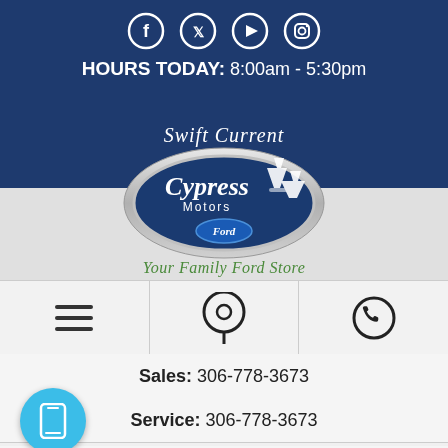[Figure (logo): Social media icons: Facebook, Twitter, YouTube, Instagram - white circle outlines on dark blue background]
HOURS TODAY: 8:00am - 5:30pm
[Figure (logo): Swift Current Cypress Motors Ford dealership oval logo with pine trees and Ford oval badge. Tagline: Your Family Ford Store]
[Figure (infographic): Navigation row with hamburger menu icon, location pin icon, and phone icon]
Sales: 306-778-3673
Service: 306-778-3673
[Figure (infographic): Blue circular mobile/tablet icon button on left side]
Parts: 306-778-3673